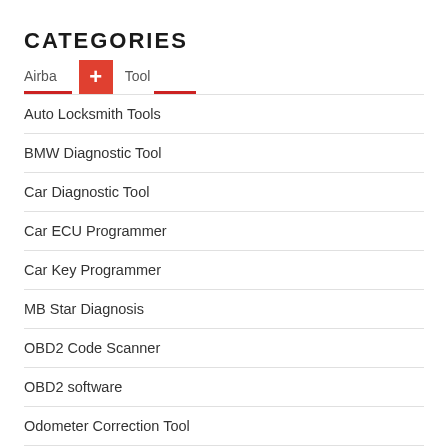CATEGORIES
Airba [+] Tool
Auto Locksmith Tools
BMW Diagnostic Tool
Car Diagnostic Tool
Car ECU Programmer
Car Key Programmer
MB Star Diagnosis
OBD2 Code Scanner
OBD2 software
Odometer Correction Tool
Other OBDII Tools
Truck diagnostic tool